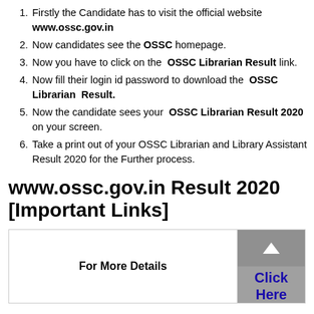Firstly the Candidate has to visit the official website www.ossc.gov.in
Now candidates see the OSSC homepage.
Now you have to click on the OSSC Librarian Result link.
Now fill their login id password to download the OSSC Librarian Result.
Now the candidate sees your OSSC Librarian Result 2020 on your screen.
Take a print out of your OSSC Librarian and Library Assistant Result 2020 for the Further process.
www.ossc.gov.in Result 2020 [Important Links]
| For More Details | Click Here |
| --- | --- |